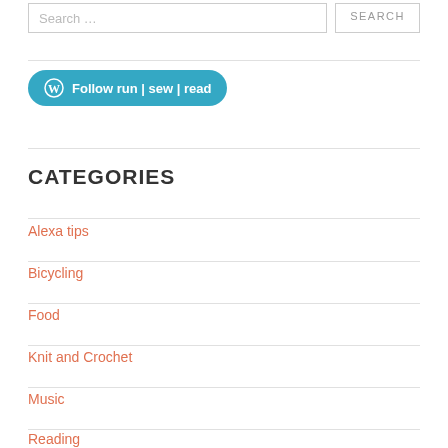Search ...
SEARCH
[Figure (other): WordPress Follow button: Follow run | sew | read]
CATEGORIES
Alexa tips
Bicycling
Food
Knit and Crochet
Music
Reading